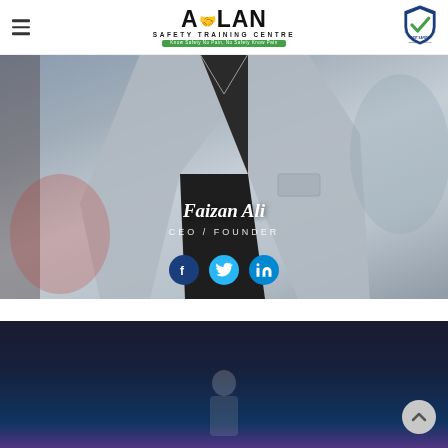AHLAN SAFETY TRAINING CENTRE - Know Safety No Pain, No Safety Know Pain
[Figure (photo): Profile photo of Faizan Ali wearing a grey suit jacket over a black shirt, overlaid with name 'Faizan Ali', title 'CEO / FOUNDER', and three social media icons (Facebook, Twitter, LinkedIn)]
[Figure (photo): Partial view of a second team member photo with dark background, partially cropped at bottom of page. A scroll-to-top button is visible at bottom right.]